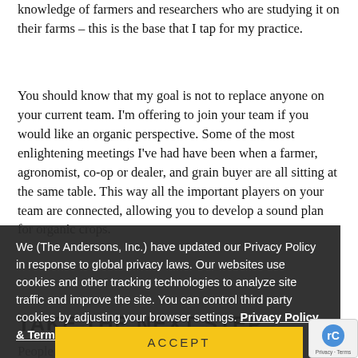knowledge of farmers and researchers who are studying it on their farms – this is the base that I tap for my practice.
You should know that my goal is not to replace anyone on your current team. I'm offering to join your team if you would like an organic perspective. Some of the most enlightening meetings I've had have been when a farmer, agronomist, co-op or dealer, and grain buyer are all sitting at the same table. This way all the important players on your team are connected, allowing you to develop a sound plan for organic crops.
TAKE THE NEXT STEP
People often wonder how to start an organic transition consulting? The answer is, it's up to you. After an initial phone call to gauge your interest and make introductions, we'll agree on an hourly rate for future services. Some farm utilize my expertise for a one to two hour meeting or call, which could include reviewing a soil sample or sharing
We (The Andersons, Inc.) have updated our Privacy Policy in response to global privacy laws. Our websites use cookies and other tracking technologies to analyze site traffic and improve the site. You can control third party cookies by adjusting your browser settings. Privacy Policy & Terms of Use
ACCEPT